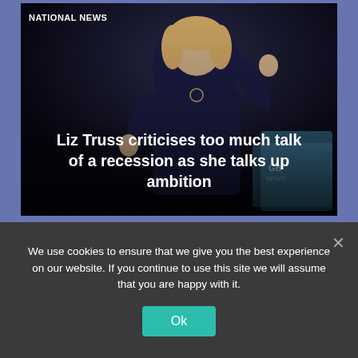NATIONAL NEWS
[Figure (photo): A woman (Liz Truss) on a dark stage, gesturing with her hands, wearing a dark navy top with a necklace. GB News watermark visible in lower right of image.]
Liz Truss criticises too much talk of a recession as she talks up ambition
We use cookies to ensure that we give you the best experience on our website. If you continue to use this site we will assume that you are happy with it.
Ok